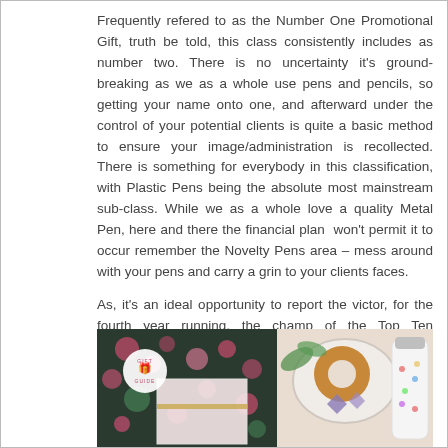Frequently refered to as the Number One Promotional Gift, truth be told, this class consistently includes as number two. There is no uncertainty it's ground-breaking as we as a whole use pens and pencils, so getting your name onto one, and afterward under the control of your potential clients is quite a basic method to ensure your image/administration is recollected. There is something for everybody in this classification, with Plastic Pens being the absolute most mainstream sub-class. While we as a whole love a quality Metal Pen, here and there the financial plan won't permit it to occur remember the Novelty Pens area – mess around with your pens and carry a grin to your clients faces.
As, it's an ideal opportunity to report the victor, for the fourth year running, the champ of the Top Ten Promotional Gifts is.
[Figure (photo): A collage-style promotional gift guide image showing a floral notebook with a 'Gift Guide' badge overlay on the left, and on the right a donut on a plate with crystals and a white dotted thermos/water bottle.]